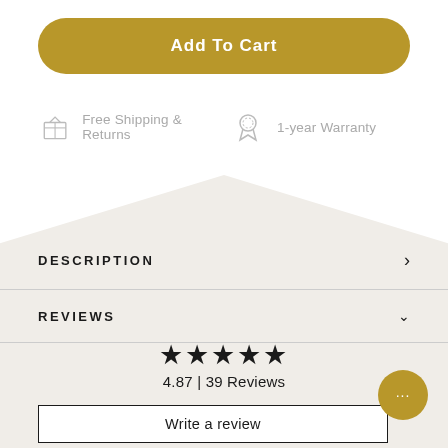Add To Cart
Free Shipping & Returns
1-year Warranty
DESCRIPTION
REVIEWS
4.87 | 39 Reviews
Write a review